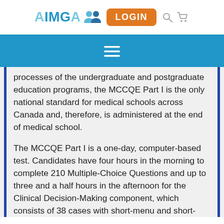AIMGA [icons] LOGIN [search] [cart]
≡
processes of the undergraduate and postgraduate education programs, the MCCQE Part I is the only national standard for medical schools across Canada and, therefore, is administered at the end of medical school.
The MCCQE Part I is a one-day, computer-based test. Candidates have four hours in the morning to complete 210 Multiple-Choice Questions and up to three and a half hours in the afternoon for the Clinical Decision-Making component, which consists of 38 cases with short-menu and short-